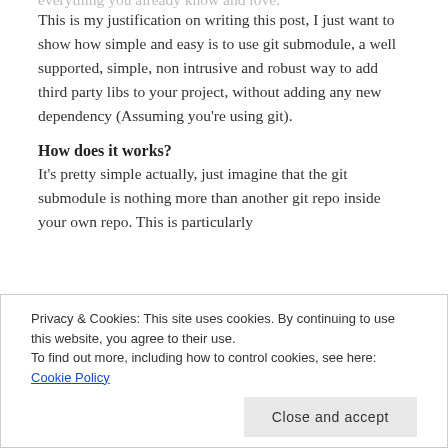This is my justification on writing this post, I just want to show how simple and easy is to use git submodule, a well supported, simple, non intrusive and robust way to add third party libs to your project, without adding any new dependency (Assuming you're using git).
How does it works?
It's pretty simple actually, just imagine that the git submodule is nothing more than another git repo inside your own repo. This is particularly
Privacy & Cookies: This site uses cookies. By continuing to use this website, you agree to their use.
To find out more, including how to control cookies, see here: Cookie Policy
Close and accept
everything you already know and love.